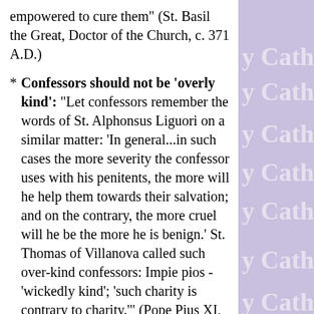empowered to cure them" (St. Basil the Great, Doctor of the Church, c. 371 A.D.)
Confessors should not be 'overly kind': "Let confessors remember the words of St. Alphonsus Liguori on a similar matter: 'In general...in such cases the more severity the confessor uses with his penitents, the more will he help them towards their salvation; and on the contrary, the more cruel will he be the more he is benign.' St. Thomas of Villanova called such over-kind confessors: Impie pios - 'wickedly kind'; 'such charity is contrary to charity.'" (Pope Pius XI, "Ad Catholici Sacerdotii", 1935 A.D.)
It is not necessary to feel that one's sins are forgiven for them actually to be forgiven: